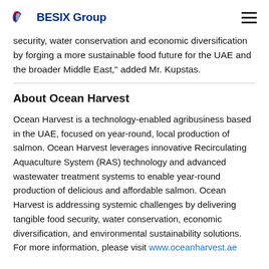BESIX Group
security, water conservation and economic diversification by forging a more sustainable food future for the UAE and the broader Middle East," added Mr. Kupstas.
About Ocean Harvest
Ocean Harvest is a technology-enabled agribusiness based in the UAE, focused on year-round, local production of salmon. Ocean Harvest leverages innovative Recirculating Aquaculture System (RAS) technology and advanced wastewater treatment systems to enable year-round production of delicious and affordable salmon. Ocean Harvest is addressing systemic challenges by delivering tangible food security, water conservation, economic diversification, and environmental sustainability solutions. For more information, please visit www.oceanharvest.ae